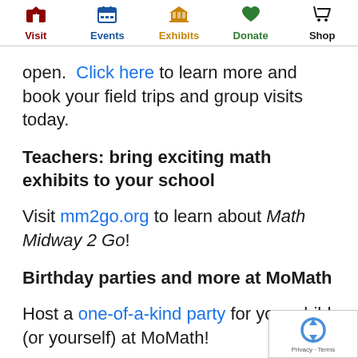Visit | Events | Exhibits | Donate | Shop
open. Click here to learn more and book your field trips and group visits today.
Teachers: bring exciting math exhibits to your school
Visit mm2go.org to learn about Math Midway 2 Go!
Birthday parties and more at MoMath
Host a one-of-a-kind party for your child (or yourself) at MoMath!